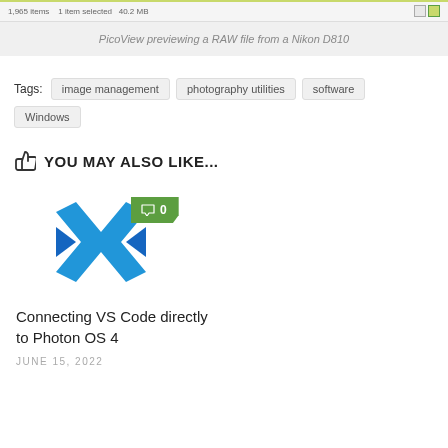[Figure (screenshot): Screenshot bar showing file info: 1,965 items, 1 item selected, 40.2 MB with window control icons]
PicoView previewing a RAW file from a Nikon D810
Tags: image management  photography utilities  software  Windows
YOU MAY ALSO LIKE...
[Figure (screenshot): VS Code logo (blue X shape) with a green comment badge showing 0 comments]
Connecting VS Code directly to Photon OS 4
JUNE 15, 2022